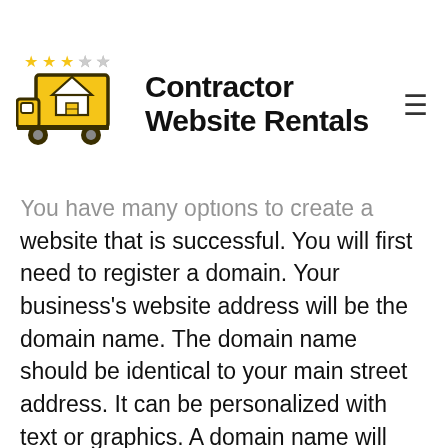Contractor Website Rentals
You have many options to create a website that is successful. You will first need to register a domain. Your business's website address will be the domain name. The domain name should be identical to your main street address. It can be personalized with text or graphics. A domain name will also help you establish your online presence. A domain name will give your customers a way to find your business in your target market.
When designing your website, use a brand logo. You may want to have it...